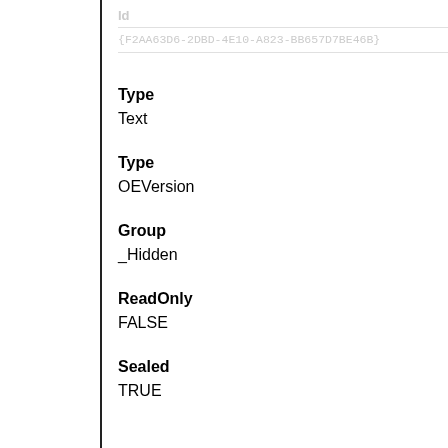Id
{F2AA63D6-2DBD-4E10-A823-BB657D7BE46B}
Type
Text
Type
OEVersion
Group
_Hidden
ReadOnly
FALSE
Sealed
TRUE